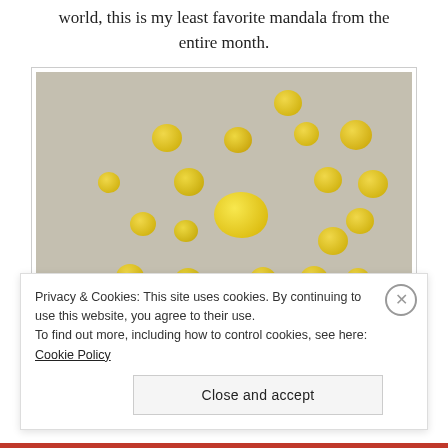world, this is my least favorite mandala from the entire month.
[Figure (photo): Photo of a mandala arrangement made from yellow citrus fruits (lemons and small round yellow fruits) laid out in a circular pattern on a light gray textured surface. A larger lemon sits in the center surrounded by smaller round yellow fruits.]
Privacy & Cookies: This site uses cookies. By continuing to use this website, you agree to their use.
To find out more, including how to control cookies, see here: Cookie Policy
Close and accept